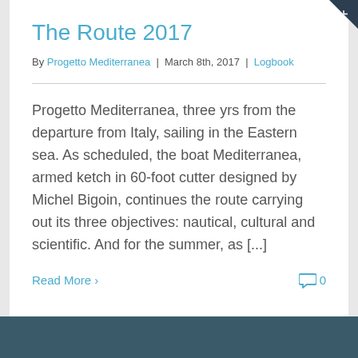The Route 2017
By Progetto Mediterranea | March 8th, 2017 | Logbook
Progetto Mediterranea, three yrs from the departure from Italy, sailing in the Eastern sea. As scheduled, the boat Mediterranea, armed ketch in 60-foot cutter designed by Michel Bigoin, continues the route carrying out its three objectives: nautical, cultural and scientific. And for the summer, as [...]
Read More > 0